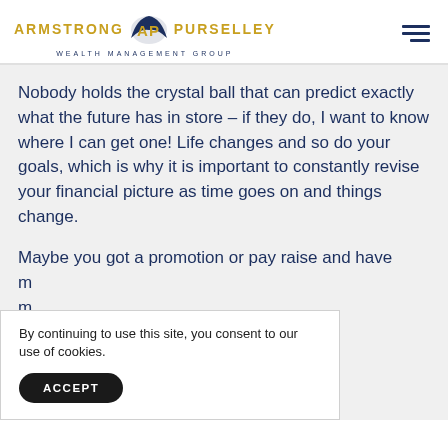ARMSTRONG AP PURSELLEY WEALTH MANAGEMENT GROUP
Nobody holds the crystal ball that can predict exactly what the future has in store – if they do, I want to know where I can get one! Life changes and so do your goals, which is why it is important to constantly revise your financial picture as time goes on and things change.
Maybe you got a promotion or pay raise and have
By continuing to use this site, you consent to our use of cookies.